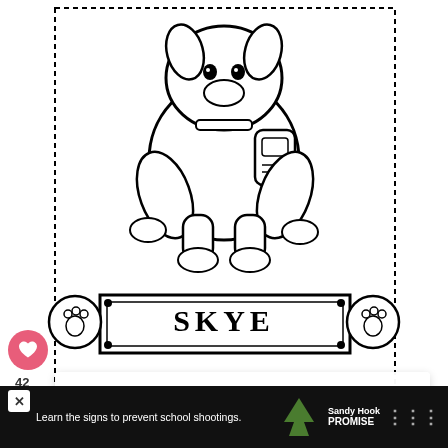[Figure (illustration): PAW Patrol coloring page featuring Skye the dog character with a backpack/jetpack, shown from behind/side angle, inside a dashed border frame with paw badge emblems on either side and a name banner reading SKYE at the bottom]
Skye Picture Photo Page Paw Patrol
Click To Print
42
WHAT'S NEXT → 41 Cutest Unicorn Cat...
[Figure (illustration): Sandy Hook Promise advertisement banner at the bottom: 'Learn the signs to prevent school shootings.' with Sandy Hook Promise logo and tree graphic]